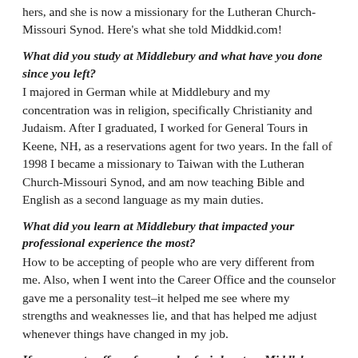hers, and she is now a missionary for the Lutheran Church-Missouri Synod. Here's what she told Middkid.com!
What did you study at Middlebury and what have you done since you left?
I majored in German while at Middlebury and my concentration was in religion, specifically Christianity and Judaism. After I graduated, I worked for General Tours in Keene, NH, as a reservations agent for two years. In the fall of 1998 I became a missionary to Taiwan with the Lutheran Church-Missouri Synod, and am now teaching Bible and English as a second language as my main duties.
What did you learn at Middlebury that impacted your professional experience the most?
How to be accepting of people who are very different from me. Also, when I went into the Career Office and the counselor gave me a personality test–it helped me see where my strengths and weaknesses lie, and that has helped me adjust whenever things have changed in my job.
If you were to offer a few words of wisdom to a Middlebury student aspiring to be a missionary, what would they be?
Well, if you want to go into a customer service job like being a